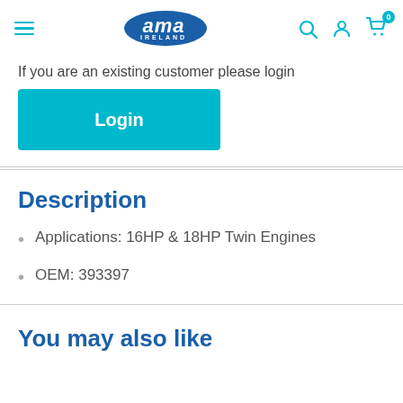[Figure (logo): ama IRELAND logo in blue oval, hamburger menu icon on left, search, user, and cart icons on right in teal]
If you are an existing customer please login
Login
Description
Applications: 16HP & 18HP Twin Engines
OEM: 393397
You may also like